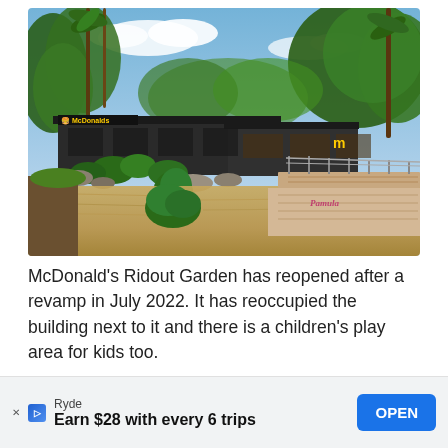[Figure (photo): Exterior photo of McDonald's Ridout Garden location surrounded by trees and lush greenery, with a flooded or water-feature area in the foreground and a wooden walkway/deck on the right. The McDonald's sign is visible on the building facade. A sign reading 'Pamula' is visible at bottom right.]
McDonald's Ridout Garden has reopened after a revamp in July 2022. It has reoccupied the building next to it and there is a children's play area for kids too.
For more information, visit Ridout Tea Garden.
Ryde
Earn $28 with every 6 trips  OPEN